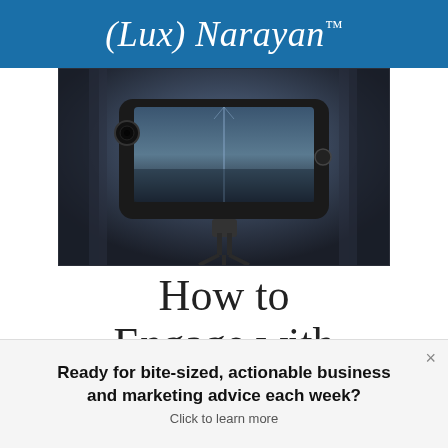(Lux) Narayan™
[Figure (photo): A smartphone mounted on a tripod/gimbal, photographing a pier/bridge scene at dusk. The phone screen shows the pier image. Dark, moody background with bokeh blur.]
How to
Engage with
Ready for bite-sized, actionable business and marketing advice each week? Click to learn more